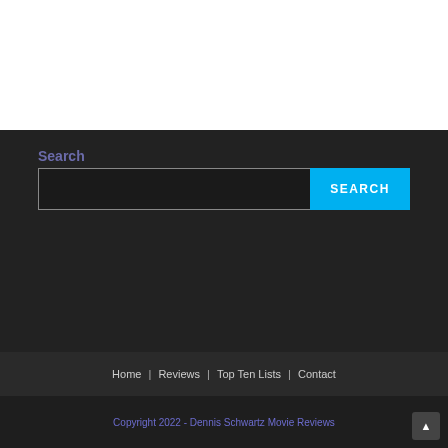Search
[Figure (screenshot): Search input field with a cyan SEARCH button on dark background]
Home | Reviews | Top Ten Lists | Contact
Copyright 2022 - Dennis Schwartz Movie Reviews